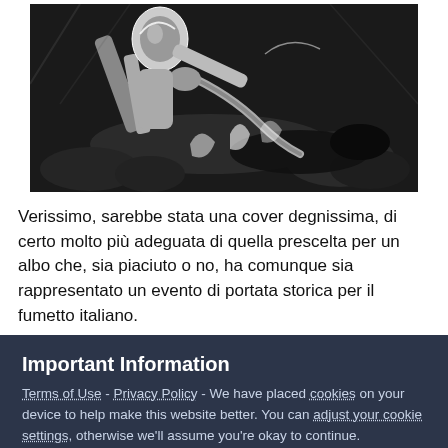[Figure (illustration): Black and white dramatic illustration showing a figure in action, possibly a sci-fi or adventure scene with mechanical/equipment elements and water, rocks in background]
Verissimo, sarebbe stata una cover degnissima, di certo molto più adeguata di quella prescelta per un albo che, sia piaciuto o no, ha comunque sia rappresentato un evento di portata storica per il fumetto italiano.
Important Information
Terms of Use - Privacy Policy - We have placed cookies on your device to help make this website better. You can adjust your cookie settings, otherwise we'll assume you're okay to continue.
✓  I accept